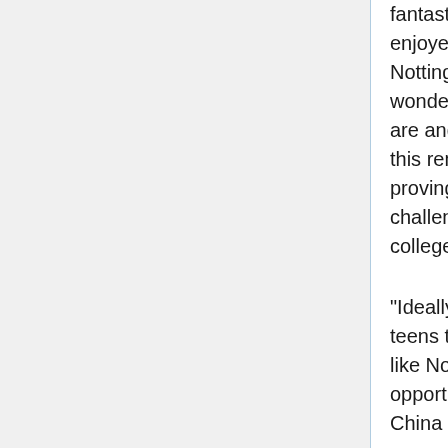fantastic to know the students completely enjoyed their day at The University of Nottingham Malaysia Campus. We know how wonderful our grounds in China and Malaysia are and the Academy Excellence Honours and this remarkable prize are a good way of proving this, as well as compensate the challenging efforts of pupils at academy colleges.
"Ideally, the journey has demonstrated to the teens that you can join a world renowned uni like Nottingham and also make use of the opportunity to spend time at our schools in China or Malaysia."
The Academy Excellence Honours are financed by the David Ross Foundation